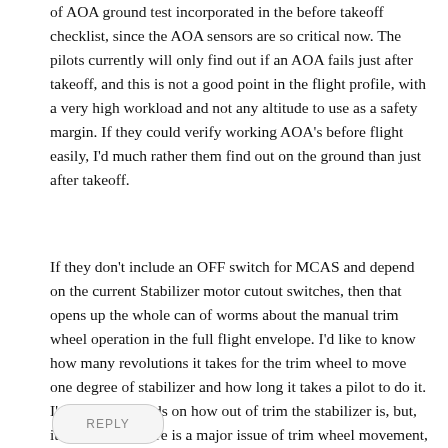of AOA ground test incorporated in the before takeoff checklist, since the AOA sensors are so critical now. The pilots currently will only find out if an AOA fails just after takeoff, and this is not a good point in the flight profile, with a very high workload and not any altitude to use as a safety margin. If they could verify working AOA's before flight easily, I'd much rather them find out on the ground than just after takeoff.
If they don't include an OFF switch for MCAS and depend on the current Stabilizer motor cutout switches, then that opens up the whole can of worms about the manual trim wheel operation in the full flight envelope. I'd like to know how many revolutions it takes for the trim wheel to move one degree of stabilizer and how long it takes a pilot to do it. I'm sure if depends on how out of trim the stabilizer is, but, it sounds like there is a major issue of trim wheel movement, during an emergency when the electric trim is unavailable.